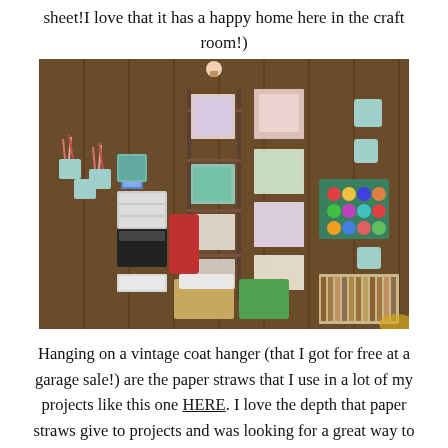sheet!I love that it has a happy home here in the craft room!)
[Figure (photo): A craft room with wooden panel walls displaying vintage handkerchiefs, fabric pieces, and paper straws hung on a metal ladder rack. Shelves and containers hold thread spools, ribbon, and craft supplies. Mint-colored buckets and various craft storage items are visible throughout.]
Hanging on a vintage coat hanger (that I got for free at a garage sale!) are the paper straws that I use in a lot of my projects like this one HERE. I love the depth that paper straws give to projects and was looking for a great way to